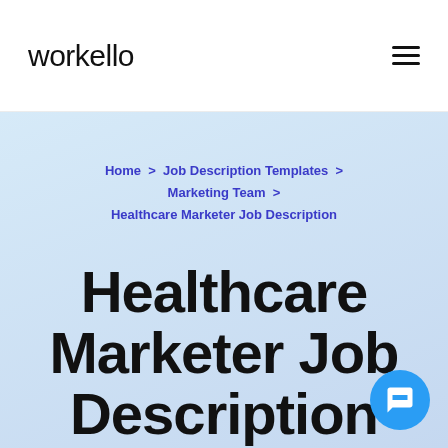workello
Home > Job Description Templates > Marketing Team > Healthcare Marketer Job Description
Healthcare Marketer Job Description